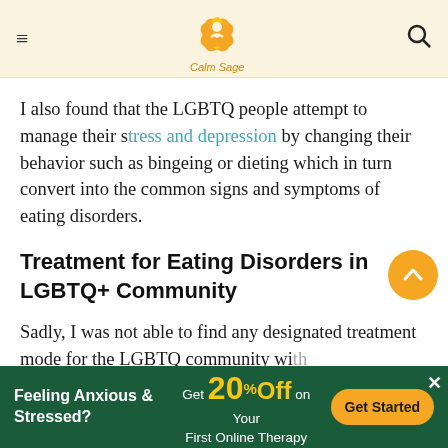Calm Sage
I also found that the LGBTQ people attempt to manage their stress and depression by changing their behavior such as bingeing or dieting which in turn convert into the common signs and symptoms of eating disorders.
Treatment for Eating Disorders in LGBTQ+ Community
Sadly, I was not able to find any designated treatment mode for the LGBTQ community with eating disorders. Since it is really important for
Feeling Anxious & Stressed? Get 20% Off on Your First Online Therapy  Get Started